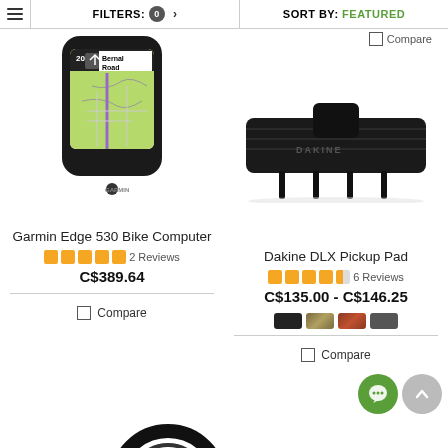FILTERS: 0 > | SORT BY: FEATURED
Compare
[Figure (photo): Garmin Edge 530 Bike Computer device showing map navigation on screen]
Garmin Edge 530 Bike Computer
2 Reviews
C$389.64
Compare
[Figure (photo): Dakine DLX Pickup Pad - black truck bed pad product]
Dakine DLX Pickup Pad
6 Reviews
C$135.00 - C$146.25
Compare
[Figure (photo): Partial view of circular bike tire/wheel at bottom of page]